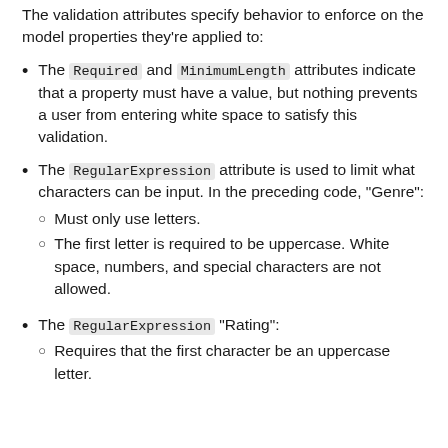The validation attributes specify behavior to enforce on the model properties they're applied to:
The Required and MinimumLength attributes indicate that a property must have a value, but nothing prevents a user from entering white space to satisfy this validation.
The RegularExpression attribute is used to limit what characters can be input. In the preceding code, "Genre": Must only use letters. The first letter is required to be uppercase. White space, numbers, and special characters are not allowed.
The RegularExpression "Rating": Requires that the first character be an uppercase letter.